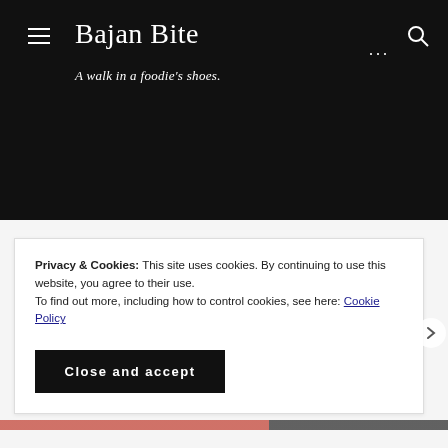Bajan Bite — A walk in a foodie's shoes.
Privacy & Cookies: This site uses cookies. By continuing to use this website, you agree to their use.
To find out more, including how to control cookies, see here: Cookie Policy
Close and accept